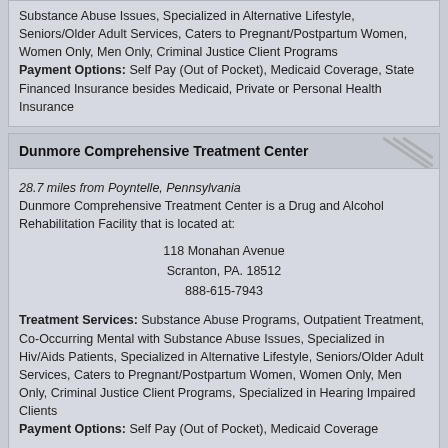Substance Abuse Issues, Specialized in Alternative Lifestyle, Seniors/Older Adult Services, Caters to Pregnant/Postpartum Women, Women Only, Men Only, Criminal Justice Client Programs Payment Options: Self Pay (Out of Pocket), Medicaid Coverage, State Financed Insurance besides Medicaid, Private or Personal Health Insurance
Dunmore Comprehensive Treatment Center
28.7 miles from Poyntelle, Pennsylvania
Dunmore Comprehensive Treatment Center is a Drug and Alcohol Rehabilitation Facility that is located at:
118 Monahan Avenue
Scranton, PA. 18512
888-615-7943
Treatment Services: Substance Abuse Programs, Outpatient Treatment, Co-Occurring Mental with Substance Abuse Issues, Specialized in Hiv/Aids Patients, Specialized in Alternative Lifestyle, Seniors/Older Adult Services, Caters to Pregnant/Postpartum Women, Women Only, Men Only, Criminal Justice Client Programs, Specialized in Hearing Impaired Clients
Payment Options: Self Pay (Out of Pocket), Medicaid Coverage
Copyright © 2008 - 2021 www.drug-overdose.com